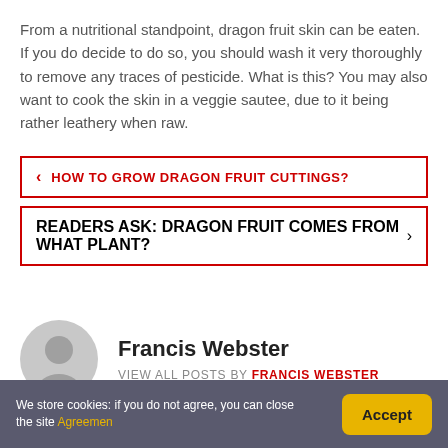From a nutritional standpoint, dragon fruit skin can be eaten. If you do decide to do so, you should wash it very thoroughly to remove any traces of pesticide. What is this? You may also want to cook the skin in a veggie sautee, due to it being rather leathery when raw.
‹ HOW TO GROW DRAGON FRUIT CUTTINGS?
READERS ASK: DRAGON FRUIT COMES FROM WHAT PLANT? ›
Francis Webster
VIEW ALL POSTS BY FRANCIS WEBSTER
We store cookies: if you do not agree, you can close the site Agreemen